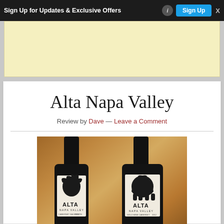[Figure (screenshot): Top navigation ad banner with 'Sign Up for Updates & Exclusive Offers' text, info button, blue 'Sign Up' button, and X close button on dark background]
[Figure (photo): Yellow advertisement banner area]
Alta Napa Valley
Review by Dave — Leave a Comment
[Figure (photo): Two Alta Napa Valley wine bottles side by side. Left bottle has a crow/raven label design. Right bottle has a bear label design. Both bottles show 'ALTA NAPA VALLEY' branding and appear to be Cabernet Sauvignon wines from 2012.]